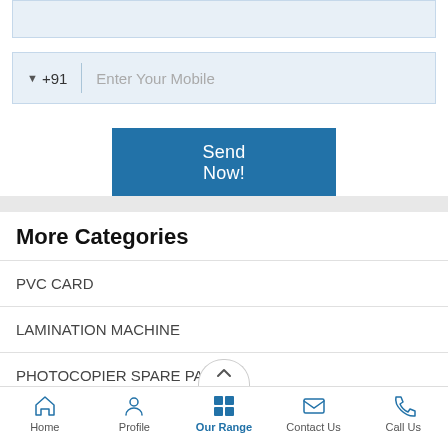[Figure (screenshot): Empty input field at the top (light blue background)]
[Figure (screenshot): Phone number input field with country code +91 dropdown and placeholder 'Enter Your Mobile']
[Figure (screenshot): 'Send Now!' button in blue]
More Categories
PVC CARD
LAMINATION MACHINE
PHOTOCOPIER SPARE PARTS 1
Paper Shredder Machine
Home  Profile  Our Range  Contact Us  Call Us